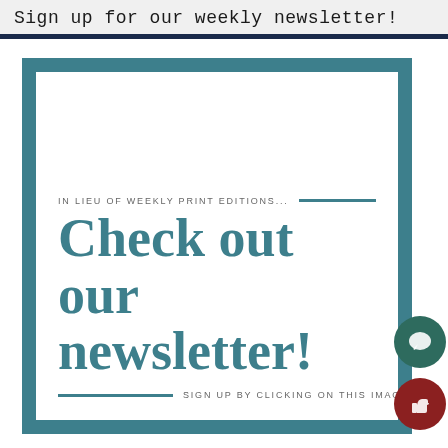Sign up for our weekly newsletter!
[Figure (infographic): Newsletter promotional graphic with teal border and white interior. Text reads: 'IN LIEU OF WEEKLY PRINT EDITIONS... Check out our newsletter! SIGN UP BY CLICKING ON THIS IMAGE!']